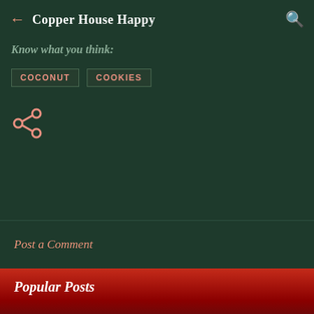Copper House Happy
Know what you think:
COCONUT
COOKIES
[Figure (infographic): Share icon (social share symbol in salmon/pink color)]
Post a Comment
[Figure (illustration): Red gradient banner band]
Popular Posts
[Figure (photo): Partial image visible at the bottom of the page under Popular Posts section]